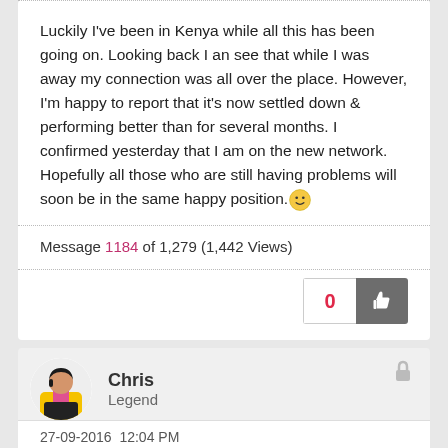Luckily I've been in Kenya while all this has been going on. Looking back I an see that while I was away my connection was all over the place. However, I'm happy to report that it's now settled down & performing better than for several months. I confirmed yesterday that I am on the new network. Hopefully all those who are still having problems will soon be in the same happy position.
Message 1184 of 1,279 (1,442 Views)
Chris
Legend
27-09-2016 12:04 PM